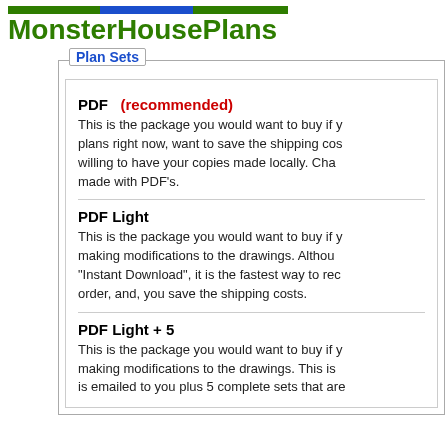MonsterHousePlans
Plan Sets
PDF   (recommended)
This is the package you would want to buy if you want your plans right now, want to save the shipping costs, and are willing to have your copies made locally. Changes can be made with PDF's.
PDF Light
This is the package you would want to buy if you are not making modifications to the drawings. Although it is not an "Instant Download", it is the fastest way to receive your order, and, you save the shipping costs.
PDF Light + 5
This is the package you would want to buy if you are not making modifications to the drawings. This is a PDF that is emailed to you plus 5 complete sets that are